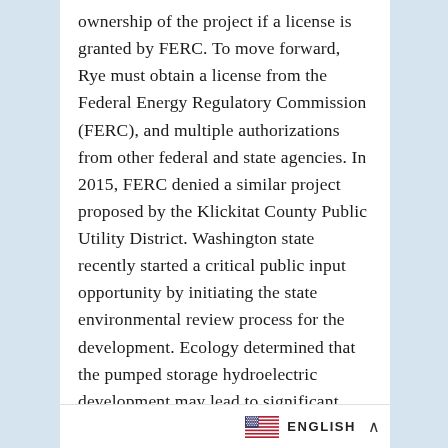ownership of the project if a license is granted by FERC. To move forward, Rye must obtain a license from the Federal Energy Regulatory Commission (FERC), and multiple authorizations from other federal and state agencies. In 2015, FERC denied a similar project proposed by the Klickitat County Public Utility District. Washington state recently started a critical public input opportunity by initiating the state environmental review process for the development. Ecology determined that the pumped storage hydroelectric development may lead to significant adverse impacts on the environment, which requires an Impact Statement